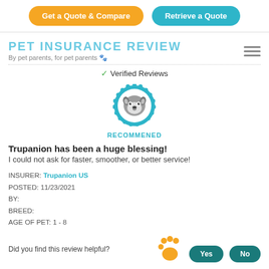[Figure (other): Two buttons: 'Get a Quote & Compare' (orange/yellow pill button) and 'Retrieve a Quote' (teal pill button)]
[Figure (logo): Pet Insurance Review logo with text 'PET INSURANCE REVIEW' in teal uppercase letters, tagline 'By pet parents, for pet parents' with orange paw print, hamburger menu icon on right]
✓ Verified Reviews
[Figure (illustration): Circular blue badge with cartoon husky dog face, labeled RECOMMENED below in teal uppercase text]
Trupanion has been a huge blessing!
I could not ask for faster, smoother, or better service!
INSURER: Trupanion US
POSTED: 11/23/2021
BY:
BREED:
AGE OF PET: 1 - 8
Did you find this review helpful?
[Figure (illustration): Yellow paw print decoration icon, Yes and No teal rounded buttons]